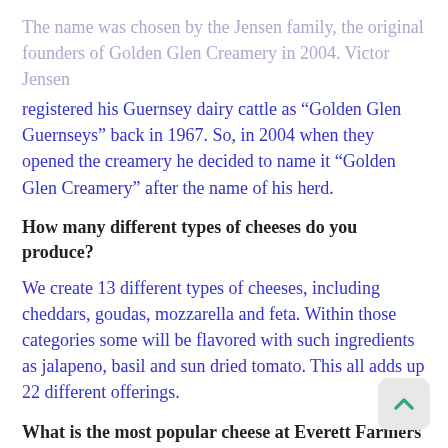The name was chosen by the Jensen family, the original founders of Golden Glen Creamery in 2004. Victor Jensen registered his Guernsey dairy cattle as “Golden Glen Guernseys” back in 1967. So, in 2004 when they opened the creamery he decided to name it “Golden Glen Creamery” after the name of his herd.
How many different types of cheeses do you produce?
We create 13 different types of cheeses, including cheddars, goudas, mozzarella and feta. Within those categories some will be flavored with such ingredients as jalapeno, basil and sun dried tomato. This all adds up 22 different offerings.
What is the most popular cheese at Everett Farmers Market?
Our squeaky cheese (cheddar cheese curds) flavored with dill and garlic is the product customers rave about the most.
Your cheeses are described as “farmstead”. What does that mean?
Farmstead means that we make our products using milk from